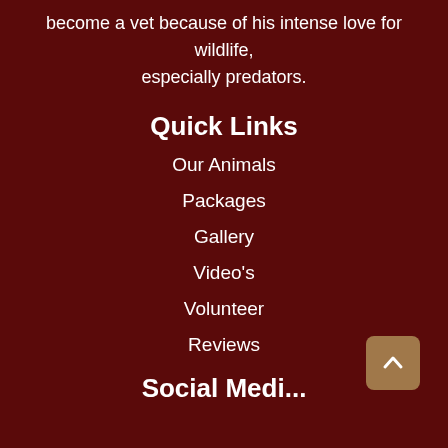become a vet because of his intense love for wildlife, especially predators.
Quick Links
Our Animals
Packages
Gallery
Video's
Volunteer
Reviews
Social Media